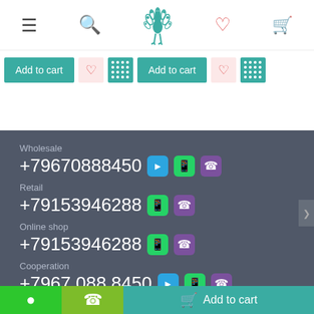[Figure (screenshot): Mobile e-commerce website header with hamburger menu, search icon, peacock logo, heart/wishlist icon, and shopping cart icon]
[Figure (screenshot): Two 'Add to cart' buttons with heart and dot-grid (share) icon buttons in teal and pink]
Wholesale
+79670888450
Retail
+79153946288
Online shop
+79153946288
Cooperation
+7967 088 8450
[Figure (screenshot): Bottom bar with chat, phone, and Add to cart buttons]